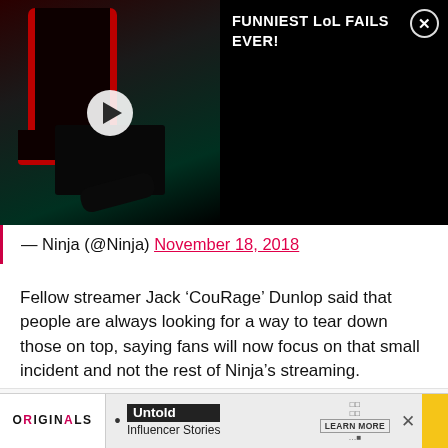[Figure (screenshot): Video thumbnail showing an esports player leaning back in a gaming chair. Right side shows black background with text 'FUNNIEST LoL FAILS EVER!' and a close/X button.]
— Ninja (@Ninja) November 18, 2018
Fellow streamer Jack 'CouRage' Dunlop said that people are always looking for a way to tear down those on top, saying fans will now focus on that small incident and not the rest of Ninja's streaming.
Subscribe to our newsletter for the latest updates on Esports, Gaming and more.
[Figure (screenshot): Advertisement banner showing Originals logo on left, bullet point, 'Untold Influencer Stories' in center, and 'LEARN MORE' call to action on right, with yellow strip on far right and X close button.]